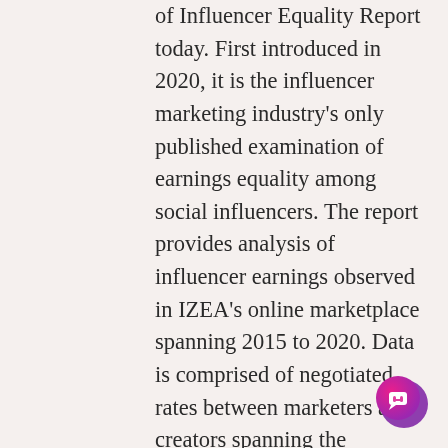of Influencer Equality Report today. First introduced in 2020, it is the influencer marketing industry's only published examination of earnings equality among social influencers. The report provides analysis of influencer earnings observed in IZEA's online marketplace spanning 2015 to 2020. Data is comprised of negotiated rates between marketers and creators spanning the spectrum of micro-influencers to celebrities, and incorporates self-reported gender and race identifiers.
[Figure (other): Pink and purple chat bubble icon in the bottom right corner]